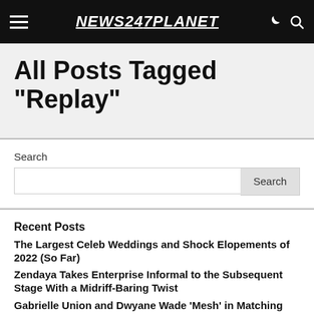NEWS247PLANET
All Posts Tagged "Replay"
Search
Recent Posts
The Largest Celeb Weddings and Shock Elopements of 2022 (So Far)
Zendaya Takes Enterprise Informal to the Subsequent Stage With a Midriff-Baring Twist
Gabrielle Union and Dwyane Wade 'Mesh' in Matching See-By Ensembles